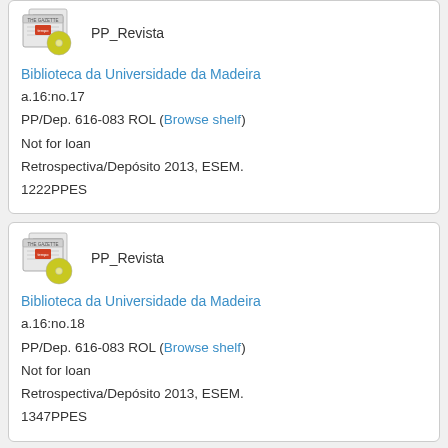[Figure (illustration): Newspaper/magazine icon with PP_Revista label for first card (top, partially visible)]
PP_Revista
Biblioteca da Universidade da Madeira
a.16:no.17
PP/Dep. 616-083 ROL (Browse shelf)
Not for loan
Retrospectiva/Depósito 2013, ESEM.
1222PPES
[Figure (illustration): Newspaper/magazine icon with PP_Revista label for second card]
PP_Revista
Biblioteca da Universidade da Madeira
a.16:no.18
PP/Dep. 616-083 ROL (Browse shelf)
Not for loan
Retrospectiva/Depósito 2013, ESEM.
1347PPES
[Figure (illustration): Newspaper/magazine icon partially visible at bottom]